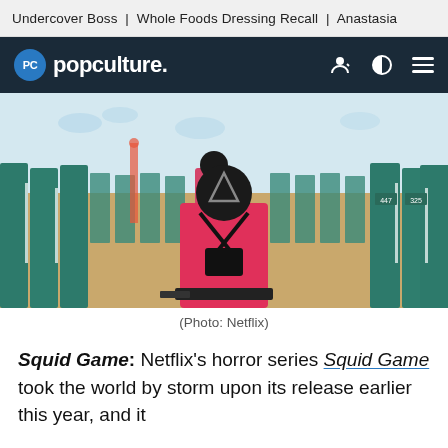Undercover Boss | Whole Foods Dressing Recall | Anastasia
PC popculture.
[Figure (photo): Scene from Netflix's Squid Game showing a pink-suited guard with black mask and triangle symbol standing in front of rows of contestants in green tracksuits on a playground-like set.]
(Photo: Netflix)
Squid Game: Netflix's horror series Squid Game took the world by storm upon its release earlier this year, and it